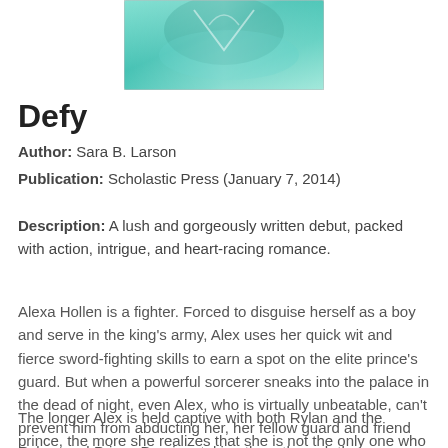[Figure (illustration): Book cover of 'Defy' showing a teal/green artistic background with abstract elements]
Defy
Author: Sara B. Larson
Publication: Scholastic Press (January 7, 2014)
Description: A lush and gorgeously written debut, packed with action, intrigue, and heart-racing romance.
Alexa Hollen is a fighter. Forced to disguise herself as a boy and serve in the king's army, Alex uses her quick wit and fierce sword-fighting skills to earn a spot on the elite prince's guard. But when a powerful sorcerer sneaks into the palace in the dead of night, even Alex, who is virtually unbeatable, can't prevent him from abducting her, her fellow guard and friend Rylan, and Prince Damian, taking them through the treacherous wilds of the jungle and deep into enemy territory.
The longer Alex is held captive with both Rylan and the prince, the more she realizes that she is not the only one who has been keeping dangerous secrets. And suddenly,